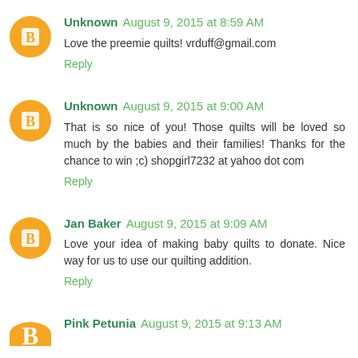Unknown August 9, 2015 at 8:59 AM
Love the preemie quilts! vrduff@gmail.com
Reply
Unknown August 9, 2015 at 9:00 AM
That is so nice of you! Those quilts will be loved so much by the babies and their families! Thanks for the chance to win ;c) shopgirl7232 at yahoo dot com
Reply
Jan Baker August 9, 2015 at 9:09 AM
Love your idea of making baby quilts to donate. Nice way for us to use our quilting addition.
Reply
Pink Petunia August 9, 2015 at 9:13 AM